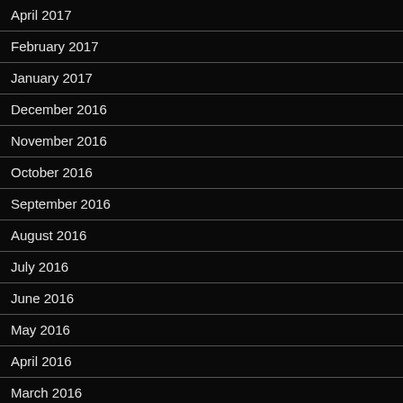April 2017
February 2017
January 2017
December 2016
November 2016
October 2016
September 2016
August 2016
July 2016
June 2016
May 2016
April 2016
March 2016